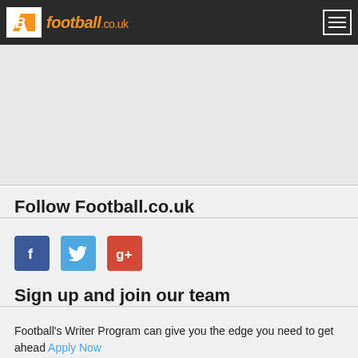FB football.co.uk
[Figure (other): Gray content placeholder area]
Follow Football.co.uk
[Figure (other): Social media icons: Facebook (f), Twitter (bird), Google+ (g+)]
Sign up and join our team
Football's Writer Program can give you the edge you need to get ahead Apply Now